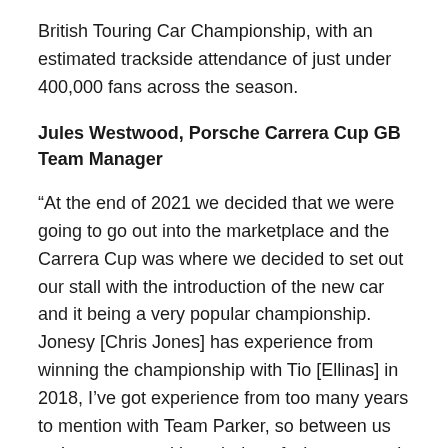British Touring Car Championship, with an estimated trackside attendance of just under 400,000 fans across the season.
Jules Westwood, Porsche Carrera Cup GB Team Manager
“At the end of 2021 we decided that we were going to go out into the marketplace and the Carrera Cup was where we decided to set out our stall with the introduction of the new car and it being a very popular championship. Jonesy [Chris Jones] has experience from winning the championship with Tio [Ellinas] in 2018, I’ve got experience from too many years to mention with Team Parker, so between us we’ve got a good knowledge of what we need to know and need to do. We’ve ended up with four cars from zero, so it’s been an interesting time